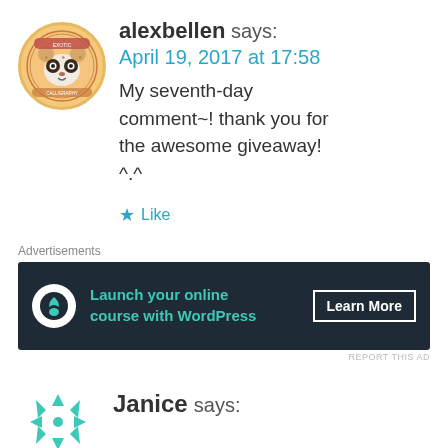[Figure (illustration): Round avatar badge with a panda/raccoon illustration, orange-yellow background with decorative border text]
alexbellen says:
April 19, 2017 at 17:58
My seventh-day comment~! thank you for the awesome giveaway! ^.^
★ Like
Advertisements
[Figure (screenshot): Dark banner advertisement: Launch your online course with WordPress — Learn More button]
REPORT THIS AD
[Figure (logo): Teal snowflake/asterisk style logo for Janice]
Janice says: